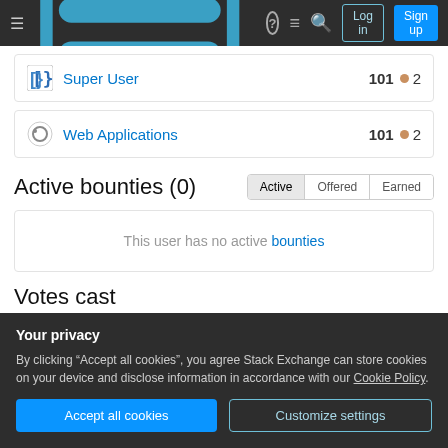Stack Exchange navigation bar with Log in and Sign up buttons
Super User  101  2
Web Applications  101  2
Active bounties (0)
This user has no active bounties
Votes cast
Your privacy
By clicking "Accept all cookies", you agree Stack Exchange can store cookies on your device and disclose information in accordance with our Cookie Policy.
Accept all cookies  Customize settings